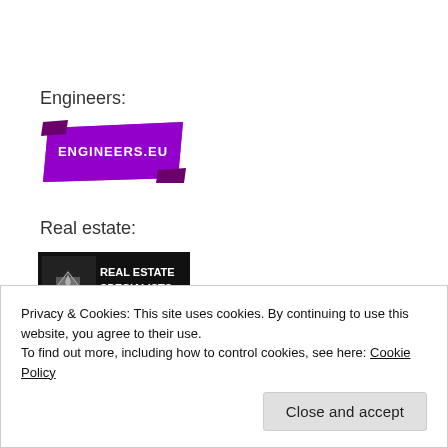Engineers:
[Figure (logo): Engineers.eu logo — purple/magenta banner shape with white text 'ENGINEERS.EU']
Real estate:
[Figure (logo): Real Estate Specialists logo — black rectangle with a building icon on the left and white text 'REAL ESTATE SPECIALISTS']
Privacy & Cookies: This site uses cookies. By continuing to use this website, you agree to their use.
To find out more, including how to control cookies, see here: Cookie Policy